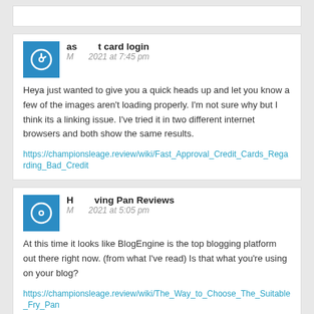[top comment card - partially visible]
as... t card login
M... 2021 at 7:45 pm
Heya just wanted to give you a quick heads up and let you know a few of the images aren't loading properly. I'm not sure why but I think its a linking issue. I've tried it in two different internet browsers and both show the same results.
https://championsleage.review/wiki/Fast_Approval_Credit_Cards_Regarding_Bad_Credit
H... ving Pan Reviews
M... 2021 at 5:05 pm
At this time it looks like BlogEngine is the top blogging platform out there right now. (from what I've read) Is that what you're using on your blog?
https://championsleage.review/wiki/The_Way_to_Choose_The_Suitable_Fry_Pan
[third comment card - partially visible at bottom]